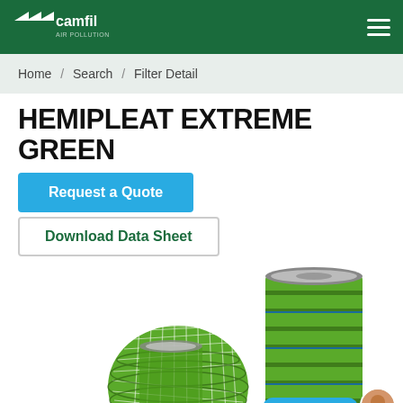Camfil Air Pollution Control
Home / Search / Filter Detail
HEMIPLEAT EXTREME GREEN
Request a Quote
Download Data Sheet
[Figure (photo): Green cylindrical filter cartridges (Hemipleat Extreme Green) shown in a group, with pleated green filter media and metal end caps]
Chat with an Agent